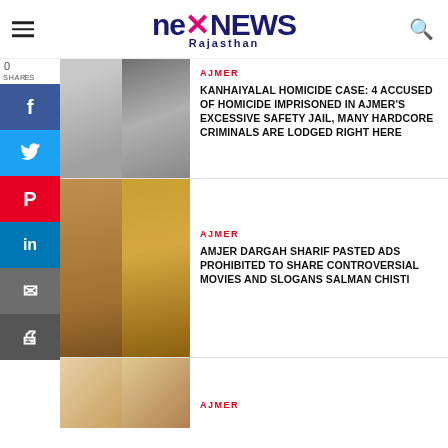[Figure (logo): Nex News Rajasthan logo with hamburger menu and search icon]
[Figure (photo): Social sharing sidebar with Facebook, Twitter, Pinterest, LinkedIn, Email, Print buttons and 0 shares count]
AJMER
KANHAIYALAL HOMICIDE CASE: 4 ACCUSED OF HOMICIDE IMPRISONED IN AJMER'S EXCESSIVE SAFETY JAIL, MANY HARDCORE CRIMINALS ARE LODGED RIGHT HERE
[Figure (photo): News article thumbnail image for Kanhaiyalal homicide case]
AJMER
AMJER DARGAH SHARIF PASTED ADS PROHIBITED TO SHARE CONTROVERSIAL MOVIES AND SLOGANS SALMAN CHISTI
[Figure (photo): News article thumbnail image for Ajmer Dargah Sharif article]
AJMER
[Figure (photo): News article thumbnail image for third article]